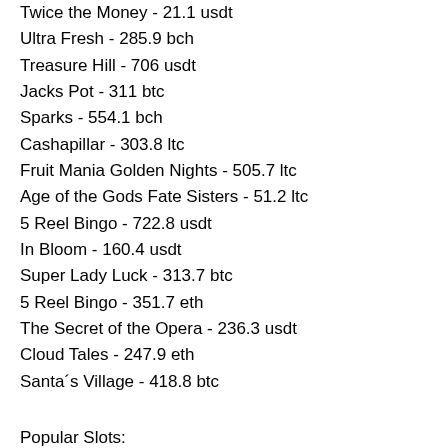Twice the Money - 21.1 usdt
Ultra Fresh - 285.9 bch
Treasure Hill - 706 usdt
Jacks Pot - 311 btc
Sparks - 554.1 bch
Cashapillar - 303.8 ltc
Fruit Mania Golden Nights - 505.7 ltc
Age of the Gods Fate Sisters - 51.2 ltc
5 Reel Bingo - 722.8 usdt
In Bloom - 160.4 usdt
Super Lady Luck - 313.7 btc
5 Reel Bingo - 351.7 eth
The Secret of the Opera - 236.3 usdt
Cloud Tales - 247.9 eth
Santa´s Village - 418.8 btc
Popular Slots:
Sportsbet.io Egypt Gods
mBTC free bet Vikings go Berzerk
Sportsbet.io Pharaohs and Aliens